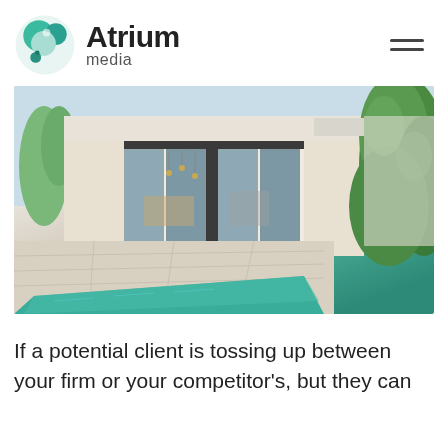[Figure (logo): Atrium media logo with circular teal/green icon and text 'Atrium media']
[Figure (photo): Exterior photo of a modern luxury home with sliding glass doors, white stone patio, turquoise swimming pool, and green foliage on the right]
If a potential client is tossing up between your firm or your competitor's, but they can